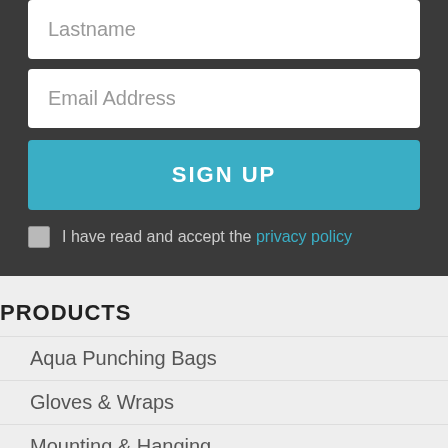Lastname
Email Address
SIGN UP
I have read and accept the privacy policy
PRODUCTS
Aqua Punching Bags
Gloves & Wraps
Mounting & Hanging
Gym Packages & Combos
Contact Us